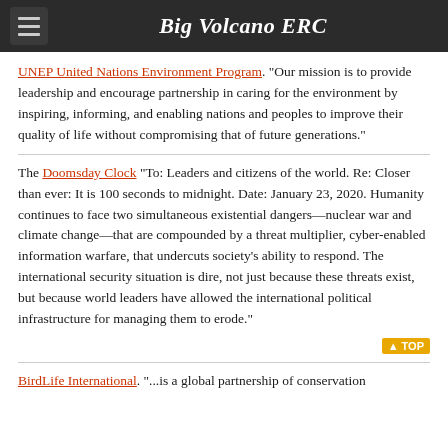Big Volcano ERC
UNEP United Nations Environment Program. "Our mission is to provide leadership and encourage partnership in caring for the environment by inspiring, informing, and enabling nations and peoples to improve their quality of life without compromising that of future generations."
The Doomsday Clock "To: Leaders and citizens of the world. Re: Closer than ever: It is 100 seconds to midnight. Date: January 23, 2020. Humanity continues to face two simultaneous existential dangers—nuclear war and climate change—that are compounded by a threat multiplier, cyber-enabled information warfare, that undercuts society's ability to respond. The international security situation is dire, not just because these threats exist, but because world leaders have allowed the international political infrastructure for managing them to erode."
BirdLife International. "...is a global partnership of conservation